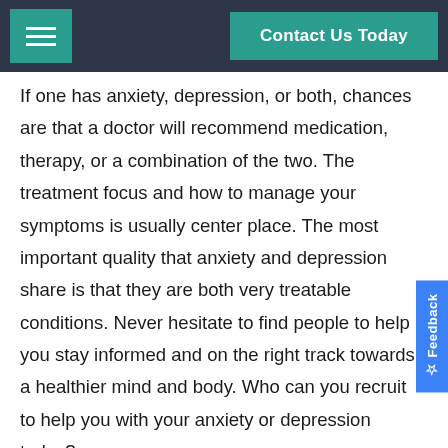Contact Us Today
If one has anxiety, depression, or both, chances are that a doctor will recommend medication, therapy, or a combination of the two. The treatment focus and how to manage your symptoms is usually center place. The most important quality that anxiety and depression share is that they are both very treatable conditions. Never hesitate to find people to help you stay informed and on the right track towards a healthier mind and body. Who can you recruit to help you with your anxiety or depression today?
Individual Rehab
The only proven successful technique to rehab is an integrated treatment. Treating just one disorder will not